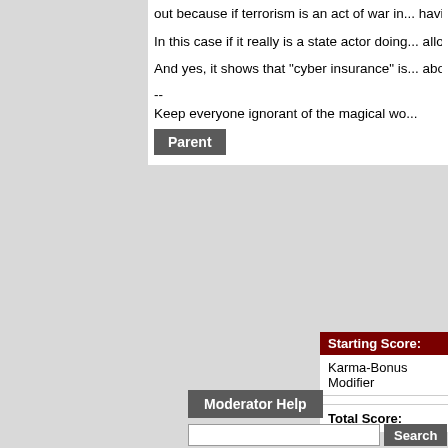out because if terrorism is an act of war in... having terror motivations behind hacking t... out.
In this case if it really is a state actor doing... allowed it as a defense by blindly acceptin... become part of the lexicon without challen... justification and, as usual, the U.S. certain... hands as well (Stuxnet... anyone want to d... *not* an act of war by a state actor? Just o... worked out well for the U.S. and Israel?)
And yes, it shows that "cyber insurance" is... about the end product of the threat and no... floods being disallowed from homeowners...
--
Keep everyone ignorant of the magical wo...
Parent
| Starting Score: |  |
| --- | --- |
| Karma-Bonus Modifier |  |
|  |  |
| Total Score: |  |
Moderator Help
Search